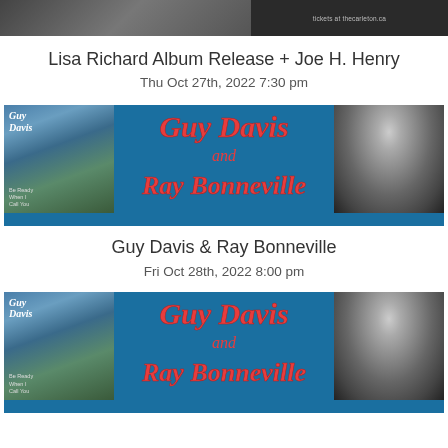[Figure (photo): Partial top banner showing a performer on the left side, and a ticket/event promotional image on the right with text 'tickets at thecarleton.ca']
Lisa Richard Album Release + Joe H. Henry
Thu Oct 27th, 2022 7:30 pm
[Figure (photo): Promotional banner for Guy Davis and Ray Bonneville with blue background, album cover on left showing Guy Davis album art, stylized red italic script text 'Guy Davis and Ray Bonneville' in center, and photo of guitarist on right]
Guy Davis & Ray Bonneville
Fri Oct 28th, 2022 8:00 pm
[Figure (photo): Second identical promotional banner for Guy Davis and Ray Bonneville with blue background, album cover on left, stylized red italic script text 'Guy Davis and Ray Bonneville' in center, and photo of guitarist on right]